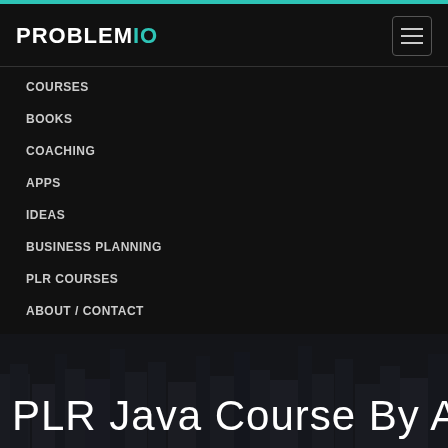PROBLEMIO
COURSES
BOOKS
COACHING
APPS
IDEAS
BUSINESS PLANNING
PLR COURSES
ABOUT / CONTACT
PLR Java Course By A